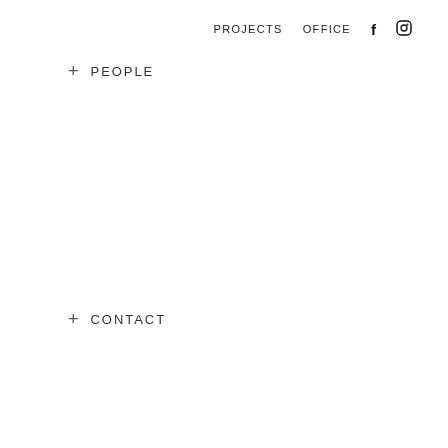PROJECTS   OFFICE   f   [instagram]
+ PEOPLE
+ CONTACT